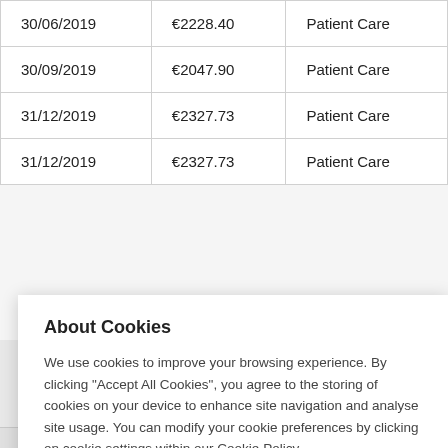| 30/06/2019 | €2228.40 | Patient Care |
| 30/09/2019 | €2047.90 | Patient Care |
| 31/12/2019 | €2327.73 | Patient Care |
| 31/12/2019 | €2327.73 | Patient Care |
About Cookies
We use cookies to improve your browsing experience. By clicking "Accept All Cookies", you agree to the storing of cookies on your device to enhance site navigation and analyse site usage. You can modify your cookie preferences by clicking on cookie settings within our Cookie Policy